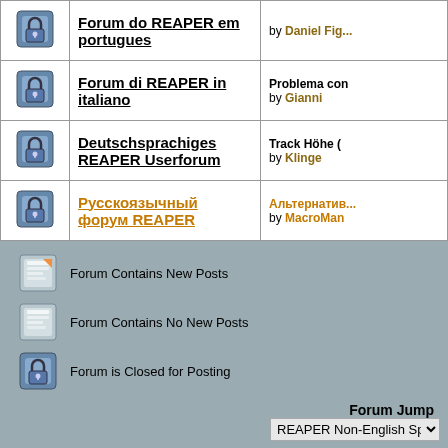| Icon | Forum | Last Post |
| --- | --- | --- |
| [icon] | Forum do REAPER em portugues | by Daniel Fig... |
| [icon] | Forum di REAPER in italiano | Problema con...
by Gianni |
| [icon] | Deutschsprachiges REAPER Userforum | Track Höhe (...
by Klinge |
| [icon] | Русскоязычный форум REAPER | Альтернатив...
by MacroMan |
Forum Contains New Posts
Forum Contains No New Posts
Forum is Closed for Posting
Forum Jump
REAPER Non-English Spe...
All times are GMT -7. The time now is 02:0...
---- Reaper 3
Powered by vBulletin® Version 3.8.11
Copyright ©2000 - 2022, vBulletin Solution...